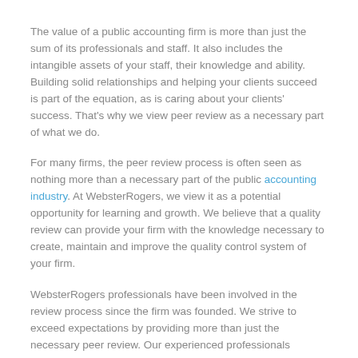The value of a public accounting firm is more than just the sum of its professionals and staff. It also includes the intangible assets of your staff, their knowledge and ability. Building solid relationships and helping your clients succeed is part of the equation, as is caring about your clients' success. That's why we view peer review as a necessary part of what we do.
For many firms, the peer review process is often seen as nothing more than a necessary part of the public accounting industry. At WebsterRogers, we view it as a potential opportunity for learning and growth. We believe that a quality review can provide your firm with the knowledge necessary to create, maintain and improve the quality control system of your firm.
WebsterRogers professionals have been involved in the review process since the firm was founded. We strive to exceed expectations by providing more than just the necessary peer review. Our experienced professionals